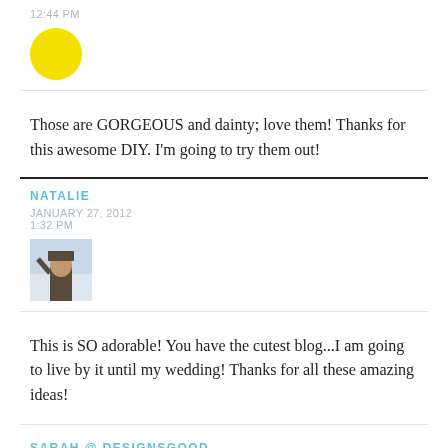12:44 PM
[Figure (illustration): Yellow circle avatar]
Those are GORGEOUS and dainty; love them! Thanks for this awesome DIY. I'm going to try them out!
NATALIE
JANUARY 27, 2012
1:32 PM
[Figure (photo): Small avatar photo of a person wearing a hat outdoors]
This is SO adorable! You have the cutest blog...I am going to live by it until my wedding! Thanks for all these amazing ideas!
SARAH @ DESIGNSGOOD